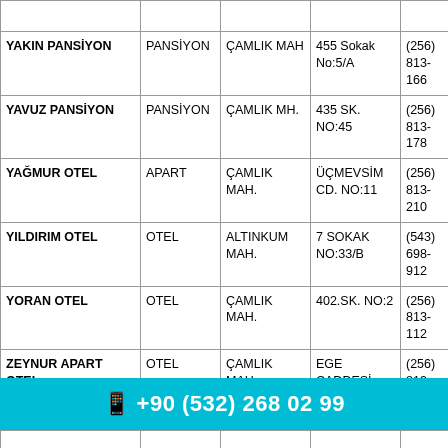| Ad | Tür | Mahalle | Adres | Tel |
| --- | --- | --- | --- | --- |
| YAKIN PANSİYON | PANSİYON | ÇAMLIK MAH | 455 Sokak No:5/A | (256) 813-166... |
| YAVUZ PANSİYON | PANSİYON | ÇAMLIK MH. | 435 SK. NO:45 | (256) 813-178... |
| YAĞMUR OTEL | APART | ÇAMLIK MAH. | ÜÇMEVSİM CD. NO:11 | (256) 813-210... |
| YILDIRIM OTEL | OTEL | ALTINKUM MAH. | 7 SOKAK NO:33/B | (543) 698-912... |
| YORAN OTEL | OTEL | ÇAMLIK MAH. | 402.SK. NO:2 | (256) 813-112... |
| ZEYNUR APART OTEL | OTEL | ÇAMLIK MAH. | EGE CADDESİ NO:4/1 | (256) 813-116... |
| ZEYTİN DALI | APART... | ÇAMLIK | ATATÜRK BUL.420 | (542)... |
📱 +90 (532) 268 02 99